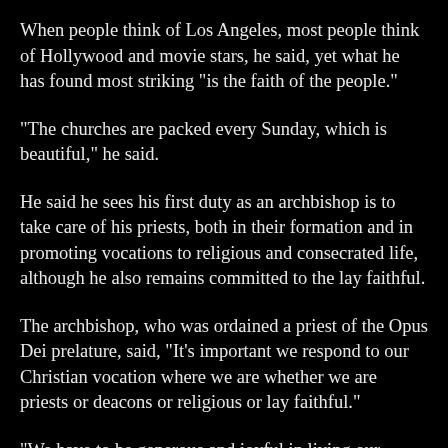When people think of Los Angeles, most people think of Hollywood and movie stars, he said, yet what he has found most striking "is the faith of the people."
"The churches are packed every Sunday, which is beautiful," he said.
He said he sees his first duty as an archbishop is to take care of his priests, both in their formation and in promoting vocations to religious and consecrated life, although he also remains committed to the lay faithful.
The archbishop, who was ordained a priest of the Opus Dei prelature, said, "It's important we respond to our Christian vocation where we are whether we are priests or deacons or religious or lay faithful."
"We have to be generous and joyful in living our vocation," which is to live holy lives, he said.
"I think my role as an archbishop is to help everybody be together,